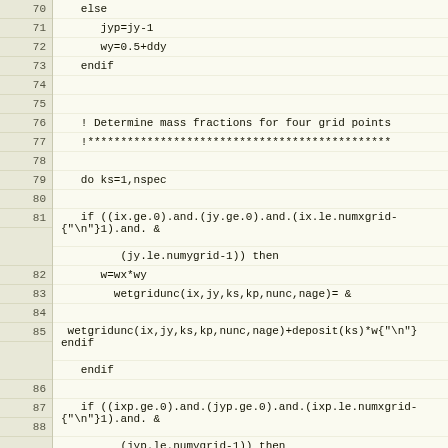[Figure (screenshot): Source code listing in Fortran showing lines 70-98, with line numbers on the left in a beige column and code on the right on a light yellow background. The code handles mass fraction computation for four grid points using wetgridunc and deposit arrays.]